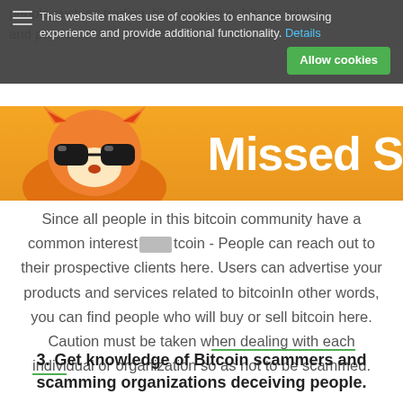people such as trading, bitcoin mining, bitcoin mining, and provide of and here. e.t.c.
This website makes use of cookies to enhance browsing experience and provide additional functionality. Details   Allow cookies
[Figure (illustration): Orange banner with cartoon fox wearing sunglasses and partial text 'Missed S' in white bold letters on orange background]
Since all people in this bitcoin community have a common interest [redacted] tcoin - People can reach out to their prospective clients here. Users can advertise your products and services related to bitcoinIn other words, you can find people who will buy or sell bitcoin here. Caution must be taken when dealing with each individual or organization so as not to be scammed.
3. Get knowledge of Bitcoin scammers and scamming organizations deceiving people.